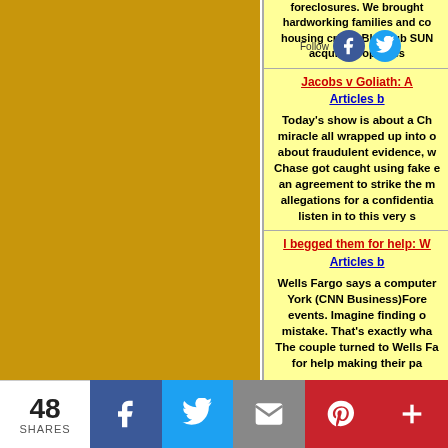foreclosures. We brought hardworking families and communities through the housing crisis. BlueHub SUN acquire properties
Jacobs v Goliath: A
Articles b
Today's show is about a Ch miracle all wrapped up into o about fraudulent evidence, w Chase got caught using fake e an agreement to strike the m allegations for a confidentia listen in to this very s
I begged them for help: W
Articles b
Wells Fargo says a computer York (CNN Business)Fore events. Imagine finding o mistake. That's exactly wha The couple turned to Wells Fa for help making their pa